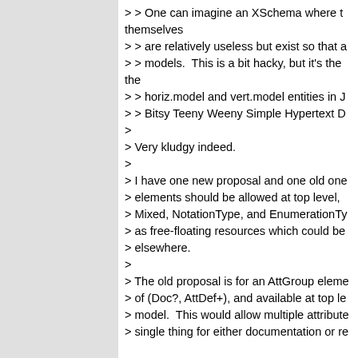> > One can imagine an XSchema where themselves
> > are relatively useless but exist so that a
> > models.  This is a bit hacky, but it's the the
> > horiz.model and vert.model entities in J
> > Bitsy Teeny Weeny Simple Hypertext D
>
> Very kludgy indeed.
>
> I have one new proposal and one old one
> elements should be allowed at top level,
> Mixed, NotationType, and EnumerationTy
> as free-floating resources which could be
> elsewhere.
>
> The old proposal is for an AttGroup eleme
> of (Doc?, AttDef+), and available at top le
> model.  This would allow multiple attribute
> single thing for either documentation or re

I think what both of these suggestions and
describe is the tension between two overla

The first aim is to provide what I will call a